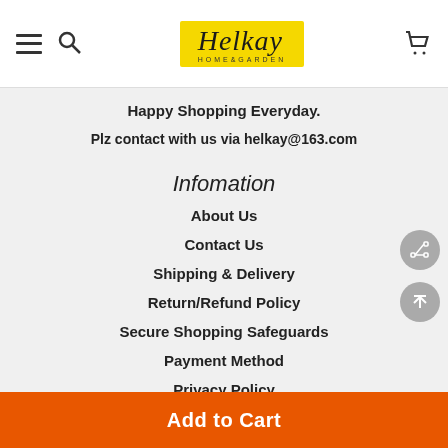Helkay HOME&GARDEN
Happy Shopping Everyday.
Plz contact with us via helkay@163.com
Infomation
About Us
Contact Us
Shipping & Delivery
Return/Refund Policy
Secure Shopping Safeguards
Payment Method
Privacy Policy
Terms and Conditions
Add to Cart